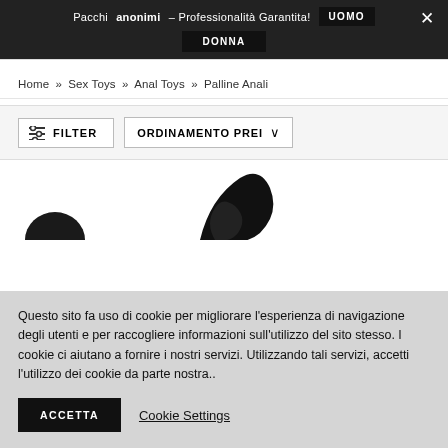Pacchi anonimi – Professionalità Garantita! UOMO DONNA ×
Home » Sex Toys » Anal Toys » Palline Anali
FILTER   ORDINAMENTO PREI ∨
[Figure (photo): Partial view of black anal beads/toys against a white background]
Questo sito fa uso di cookie per migliorare l'esperienza di navigazione degli utenti e per raccogliere informazioni sull'utilizzo del sito stesso. I cookie ci aiutano a fornire i nostri servizi. Utilizzando tali servizi, accetti l'utilizzo dei cookie da parte nostra..
ACCETTA   Cookie Settings